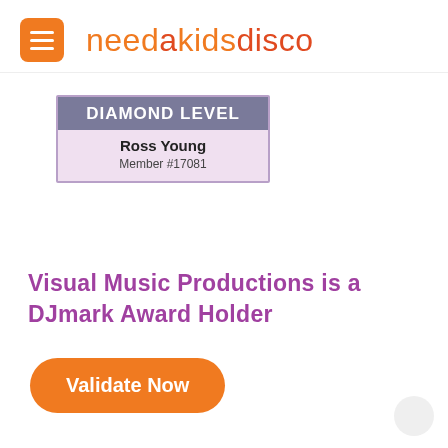needakidsdisco
[Figure (other): Diamond Level membership card for Ross Young, Member #17081]
Visual Music Productions is a DJmark Award Holder
Validate Now